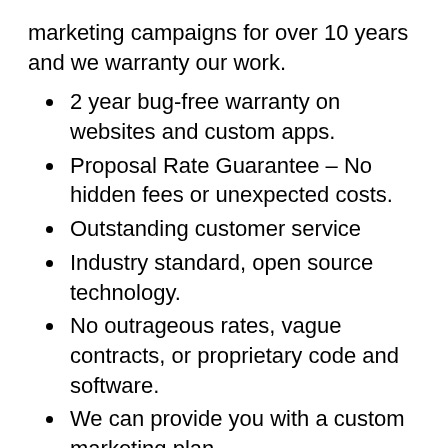marketing campaigns for over 10 years and we warranty our work.
2 year bug-free warranty on websites and custom apps.
Proposal Rate Guarantee – No hidden fees or unexpected costs.
Outstanding customer service
Industry standard, open source technology.
No outrageous rates, vague contracts, or proprietary code and software.
We can provide you with a custom marketing plan.
We'll be a great fit for you if:
Your current website isn't meeting your sales and marketing objectives.